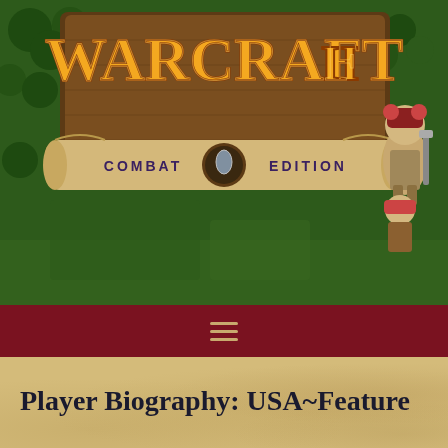[Figure (screenshot): Warcraft II Combat Edition game header banner showing the logo with orange/gold fantasy lettering on a wooden plaque, 'COMBAT EDITION' subtitle on a scroll banner, green forest game map background with trees and terrain, and a fantasy warrior character on the right side]
[Figure (other): Dark red navigation bar with hamburger menu icon (three horizontal lines) in gold/tan color]
Player Biography: USA~Feature
Warcraft 2 Bio
| Main WC2 Username | USA~Feature "2006-2010" |